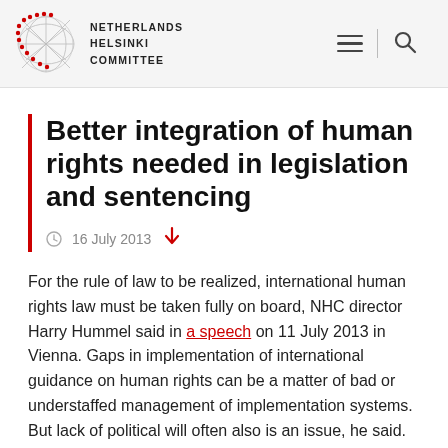Netherlands Helsinki Committee
Better integration of human rights needed in legislation and sentencing
16 July 2013
For the rule of law to be realized, international human rights law must be taken fully on board, NHC director Harry Hummel said in a speech on 11 July 2013 in Vienna. Gaps in implementation of international guidance on human rights can be a matter of bad or understaffed management of implementation systems. But lack of political will often also is an issue, he said. In these cases